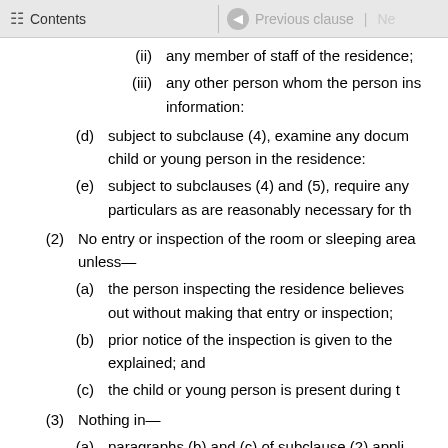Contents | Previous clause
(ii) any member of staff of the residence;
(iii) any other person whom the person ins- information:
(d) subject to subclause (4), examine any docum- child or young person in the residence:
(e) subject to subclauses (4) and (5), require any particulars as are reasonably necessary for th-
(2) No entry or inspection of the room or sleeping area unless—
(a) the person inspecting the residence believes out without making that entry or inspection;
(b) prior notice of the inspection is given to the explained; and
(c) the child or young person is present during t-
(3) Nothing in—
(a) paragraphs (b) and (c) of subclause (2) appli-
(b) subclause (2)(c) applies where compliance w-